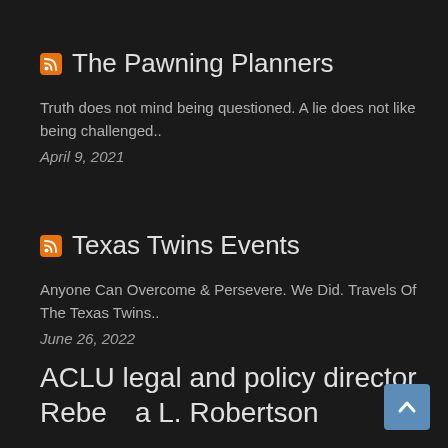The Pawning Planners
Truth does not mind being questioned. A lie does not like being challenged..
April 9, 2021
Texas Twins Events
Anyone Can Overcome & Persevere. We Did. Travels Of The Texas Twins..
June 26, 2022
ACLU legal and policy director Rebecca L. Robertson